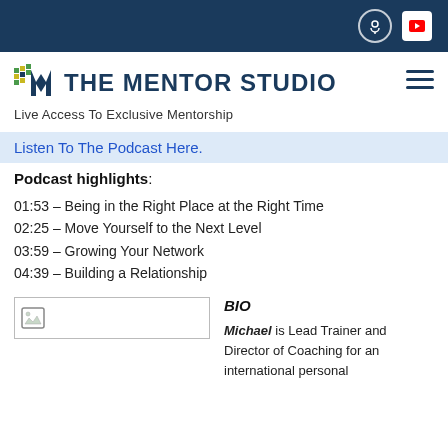THE MENTOR STUDIO — Live Access To Exclusive Mentorship
Listen To The Podcast Here.
Podcast highlights:
01:53 – Being in the Right Place at the Right Time
02:25 – Move Yourself to the Next Level
03:59 – Growing Your Network
04:39 – Building a Relationship
[Figure (photo): Broken/missing image placeholder]
BIO
Michael is Lead Trainer and Director of Coaching for an international personal